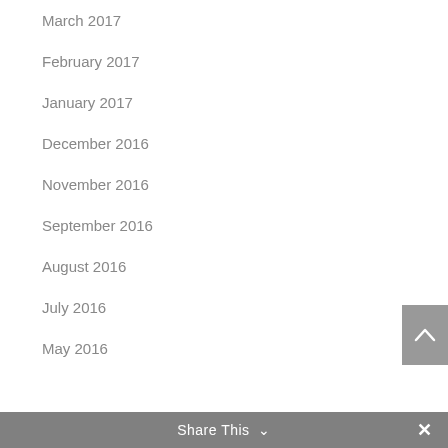March 2017
February 2017
January 2017
December 2016
November 2016
September 2016
August 2016
July 2016
May 2016
Share This ∨  ✕